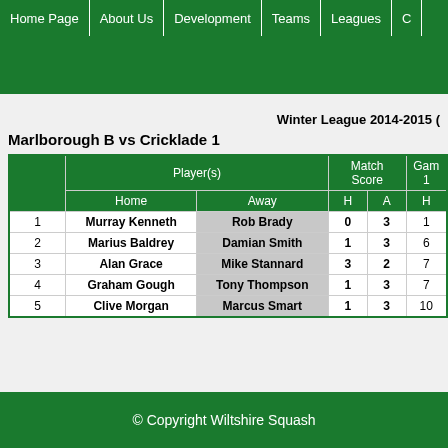Home Page | About Us | Development | Teams | Leagues | C
Winter League 2014-2015 (
Marlborough B vs Cricklade 1
| String | Player(s) Home | Player(s) Away | Match Score H | Match Score A | Game 1 H |
| --- | --- | --- | --- | --- | --- |
| 1 | Murray Kenneth | Rob Brady | 0 | 3 | 1 |
| 2 | Marius Baldrey | Damian Smith | 1 | 3 | 6 |
| 3 | Alan Grace | Mike Stannard | 3 | 2 | 7 |
| 4 | Graham Gough | Tony Thompson | 1 | 3 | 7 |
| 5 | Clive Morgan | Marcus Smart | 1 | 3 | 10 |
© Copyright Wiltshire Squash